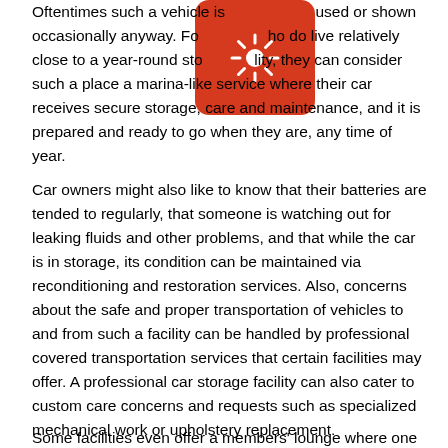Oftentimes such a vehicle is used or shown occasionally anyway. For those who do live relatively close to a year-round storage facility, they can consider such a place a marina-like service where their car receives secure storage, care and maintenance, and it is prepared and ready to go when they are, any time of year.
Car owners might also like to know that their batteries are tended to regularly, that someone is watching out for leaking fluids and other problems, and that while the car is in storage, its condition can be maintained via reconditioning and restoration services. Also, concerns about the safe and proper transportation of vehicles to and from such a facility can be handled by professional covered transportation services that certain facilities may offer. A professional car storage facility can also cater to custom care concerns and requests such as specialized mechanical work or upholstery replacement.
Some facilities even offer a members' lounge where one